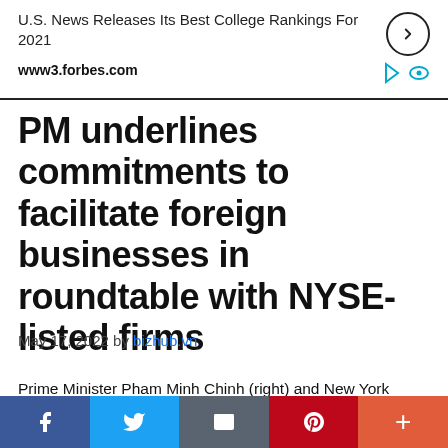U.S. News Releases Its Best College Rankings For 2021
www3.forbes.com
PM underlines commitments to facilitate foreign businesses in roundtable with NYSE-listed firms
May 17, 2022 by bizhub.vn
Prime Minister Pham Minh Chinh (right) and New York Stock Exchange (NYSE) President Lynn Martin